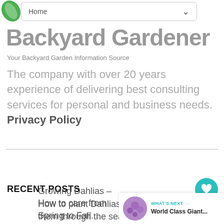Home
Backyard Gardener
Your Backyard Garden Information Source
The company with over 20 years experience of delivering best consulting services for personal and business needs. Privacy Policy
RECENT POSTS
How to plant Dahlias and care for them through the season
Growing Dahlias – How to care from Spring to Fall...
[Figure (other): What's Next panel with circular thumbnail image of purple flowers and label 'World Class Giant...']